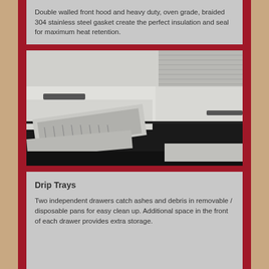Double walled front hood and heavy duty, oven grade, braided 304 stainless steel gasket create the perfect insulation and seal for maximum heat retention.
[Figure (photo): Close-up photograph of stainless steel grill drip trays/drawers being pulled out from beneath a grill unit, showing removable metal pans against a dark background.]
Drip Trays
Two independent drawers catch ashes and debris in removable / disposable pans for easy clean up. Additional space in the front of each drawer provides extra storage.